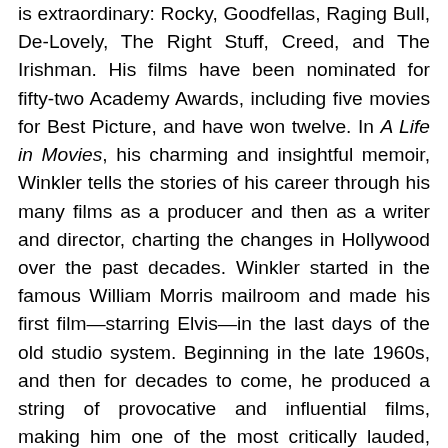is extraordinary: Rocky, Goodfellas, Raging Bull, De-Lovely, The Right Stuff, Creed, and The Irishman. His films have been nominated for fifty-two Academy Awards, including five movies for Best Picture, and have won twelve. In A Life in Movies, his charming and insightful memoir, Winkler tells the stories of his career through his many films as a producer and then as a writer and director, charting the changes in Hollywood over the past decades. Winkler started in the famous William Morris mailroom and made his first film—starring Elvis—in the last days of the old studio system. Beginning in the late 1960s, and then for decades to come, he produced a string of provocative and influential films, making him one of the most critically lauded, prolific, and commercially successful producers of his era. This is an engrossing and candid book, a beguiling exploration of what it means to be a producer, including purchasing rights, developing scripts, casting actors, managing directors, editing film, and winning awards. Filled with tales of legendary and beloved films, as well